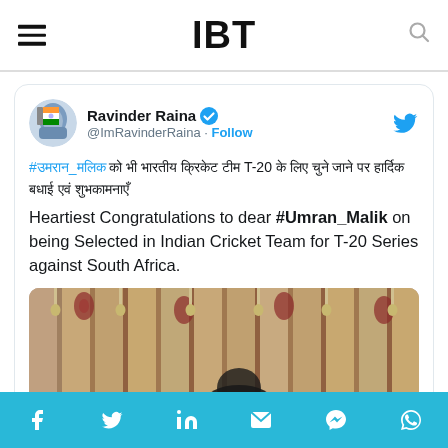IBT
[Figure (screenshot): Tweet by Ravinder Raina (@ImRavinderRaina) with verified badge and Follow link, containing Hindi text with #उमरान_मलिक hashtag and English text: Heartiest Congratulations to dear #Umran_Malik on being Selected in Indian Cricket Team for T-20 Series against South Africa. Includes a partially visible photo below the text.]
Social share icons: Facebook, Twitter, LinkedIn, Email, Messenger, WhatsApp